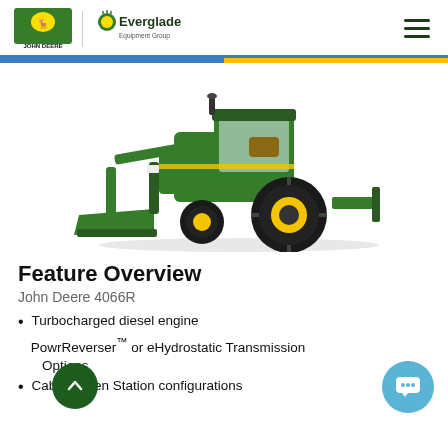John Deere | Everglades Equipment Group
[Figure (photo): Green John Deere 4066R compact utility tractor with front loader bucket and rear attachment, shown on white background.]
Feature Overview
John Deere 4066R
Turbocharged diesel engine
PowrReverser™ or eHydrostatic Transmission Options
Cab or Open Station configurations